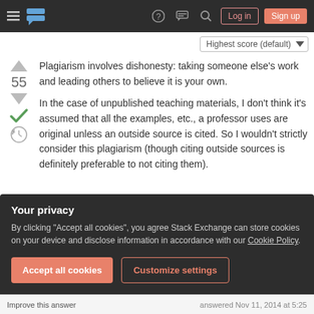Stack Exchange navigation bar with hamburger menu, logo, help, chat, search icons, Log in and Sign up buttons
Highest score (default)
Plagiarism involves dishonesty: taking someone else's work and leading others to believe it is your own.
In the case of unpublished teaching materials, I don't think it's assumed that all the examples, etc., a professor uses are original unless an outside source is cited. So I wouldn't strictly consider this plagiarism (though citing outside sources is definitely preferable to not citing them).
Your privacy
By clicking "Accept all cookies", you agree Stack Exchange can store cookies on your device and disclose information in accordance with our Cookie Policy.
Accept all cookies
Customize settings
answered Nov 11, 2014 at 5:25
Improve this answer